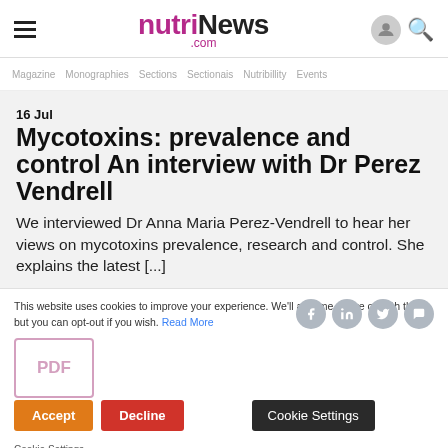nutriNews.com
Magazine  Monographies  Sections  Sectionais  Nutribillity  Events
16 Jul
Mycotoxins: prevalence and control An interview with Dr Perez Vendrell
We interviewed Dr Anna Maria Perez-Vendrell to hear her views on mycotoxins prevalence, research and control. She explains the latest [...]
This website uses cookies to improve your experience. We'll assume you're ok with this, but you can opt-out if you wish. Read More
Accept  Decline  Cookie Settings
Cookie Settings